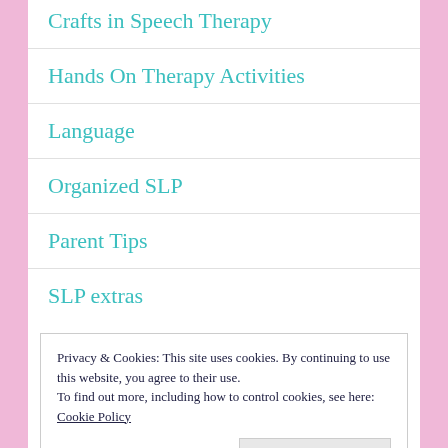Crafts in Speech Therapy
Hands On Therapy Activities
Language
Organized SLP
Parent Tips
SLP extras
Privacy & Cookies: This site uses cookies. By continuing to use this website, you agree to their use.
To find out more, including how to control cookies, see here: Cookie Policy
Close and accept